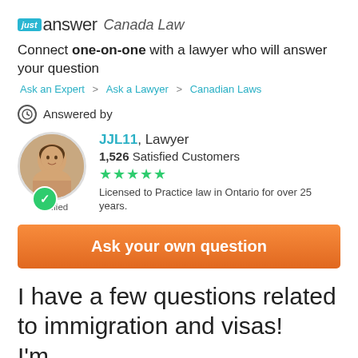just answer Canada Law
Connect one-on-one with a lawyer who will answer your question
Ask an Expert > Ask a Lawyer > Canadian Laws
Answered by
[Figure (photo): Profile photo of JJL11, a lawyer, with a verified badge below]
JJL11, Lawyer
1,526 Satisfied Customers
★★★★★
Licensed to Practice law in Ontario for over 25 years.
Verified
Ask your own question
I have a few questions related to immigration and visas! I'm…